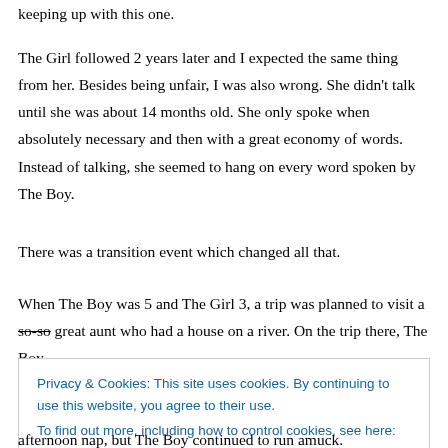keeping up with this one.
The Girl followed 2 years later and I expected the same thing from her. Besides being unfair, I was also wrong. She didn't talk until she was about 14 months old. She only spoke when absolutely necessary and then with a great economy of words. Instead of talking, she seemed to hang on every word spoken by The Boy.
There was a transition event which changed all that.
When The Boy was 5 and The Girl 3, a trip was planned to visit a so-so great aunt who had a house on a river. On the trip there, The Boy
Privacy & Cookies: This site uses cookies. By continuing to use this website, you agree to their use.
To find out more, including how to control cookies, see here: Cookie Policy
afternoon nap, but The Boy continued to run amuck.